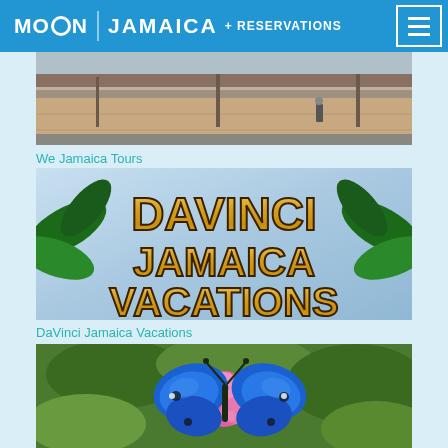MOON JAMAICA + RESERVATIONS
[Figure (photo): Street scene photo showing a wall and pedestrian]
We Jamaica Tours
[Figure (logo): DaVinci Jamaica Vacations logo with gold lettering and tropical leaf design]
DaVinci Jamaica Vacations
[Figure (photo): Close-up photo of a blue morpho butterfly on pink flowers with green leaves in background]